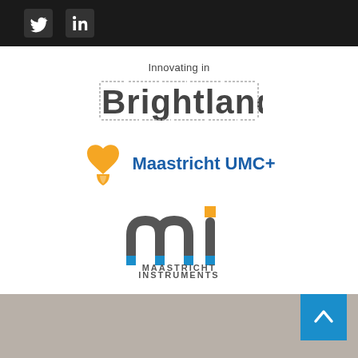[Figure (logo): Twitter and LinkedIn social media icons on dark background]
[Figure (logo): Brightlands logo with 'Innovating in' text above]
[Figure (logo): Maastricht UMC+ logo with orange heart icon]
[Figure (logo): Maastricht Instruments logo with stylized 'mi' letters and blue squares]
[Figure (other): Gray footer bar with blue back-to-top arrow button]